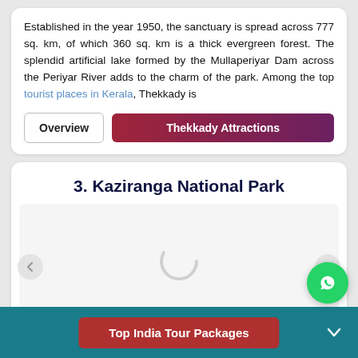Established in the year 1950, the sanctuary is spread across 777 sq. km, of which 360 sq. km is a thick evergreen forest. The splendid artificial lake formed by the Mullaperiyar Dam across the Periyar River adds to the charm of the park. Among the top tourist places in Kerala, Thekkady is
[Figure (screenshot): Two navigation buttons: 'Overview' (outlined) and 'Thekkady Attractions' (dark red/purple gradient)]
3. Kaziranga National Park
[Figure (screenshot): Image carousel area showing a loading spinner (grey arc) on a light grey background, with left and right navigation arrows]
Top India Tour Packages